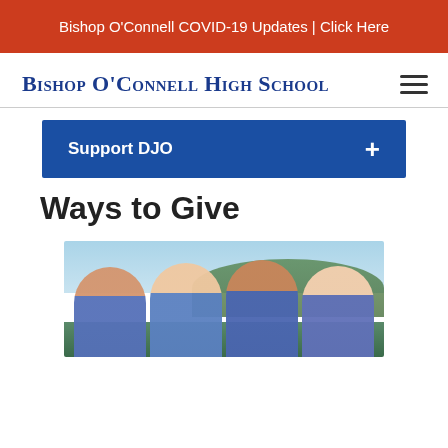Bishop O’Connell COVID-19 Updates | Click Here
Bishop O’Connell High School
Support DJO
Ways to Give
[Figure (photo): Group of four female students in blue shirts smiling outdoors with trees and sky in background]